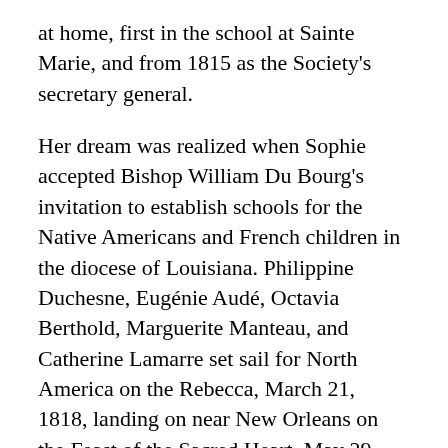at home, first in the school at Sainte Marie, and from 1815 as the Society's secretary general.
Her dream was realized when Sophie accepted Bishop William Du Bourg's invitation to establish schools for the Native Americans and French children in the diocese of Louisiana. Philippine Duchesne, Eugénie Audé, Octavia Berthold, Marguerite Manteau, and Catherine Lamarre set sail for North America on the Rebecca, March 21, 1818, landing on near New Orleans on the Feast of the Sacred Heart, May 29, 1818, and from there they traveled to St. Louis, Missouri.
At the direction of Bishop Dubourg, Philippine and her companions went to St. Charles, Missouri, across the Missouri River, where on September 14, 1818, they opened the first Sacred Heart school outside of Europe. It was also the first free school west of the Mississippi and the first Catholic school in the state.